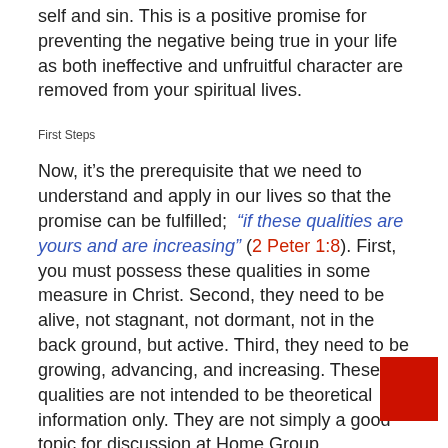self and sin. This is a positive promise for preventing the negative being true in your life as both ineffective and unfruitful character are removed from your spiritual lives.
First Steps
Now, it’s the prerequisite that we need to understand and apply in our lives so that the promise can be fulfilled; “if these qualities are yours and are increasing” (2 Peter 1:8). First, you must possess these qualities in some measure in Christ. Second, they need to be alive, not stagnant, not dormant, not in the back ground, but active. Third, they need to be growing, advancing, and increasing. These qualities are not intended to be theoretical information only. They are not simply a good topic for discussion at Home Group.